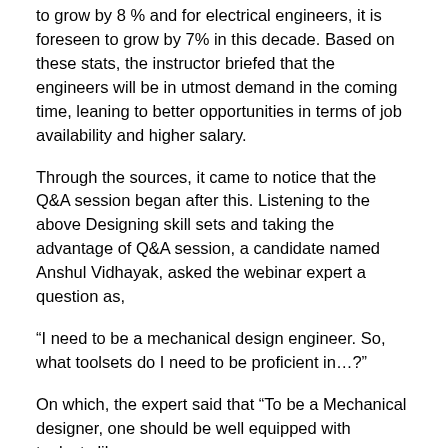to grow by 8 % and for electrical engineers, it is foreseen to grow by 7% in this decade. Based on these stats, the instructor briefed that the engineers will be in utmost demand in the coming time, leaning to better opportunities in terms of job availability and higher salary.
Through the sources, it came to notice that the Q&A session began after this. Listening to the above Designing skill sets and taking the advantage of Q&A session, a candidate named Anshul Vidhayak, asked the webinar expert a question as,
“I need to be a mechanical design engineer. So, what toolsets do I need to be proficient in…?”
On which, the expert said that “To be a Mechanical designer, one should be well equipped with toolsets like –
AutoCAD.